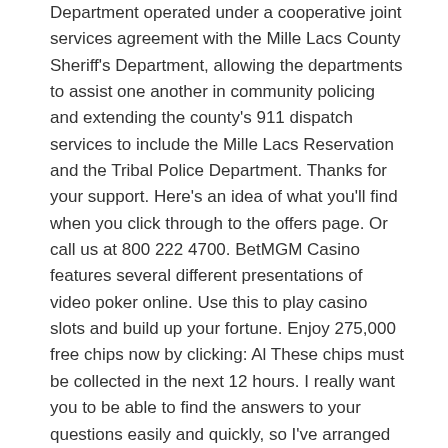Department operated under a cooperative joint services agreement with the Mille Lacs County Sheriff's Department, allowing the departments to assist one another in community policing and extending the county's 911 dispatch services to include the Mille Lacs Reservation and the Tribal Police Department. Thanks for your support. Here's an idea of what you'll find when you click through to the offers page. Or call us at 800 222 4700. BetMGM Casino features several different presentations of video poker online. Use this to play casino slots and build up your fortune. Enjoy 275,000 free chips now by clicking: Al These chips must be collected in the next 12 hours. I really want you to be able to find the answers to your questions easily and quickly, so I've arranged the content on the site into relevant sections. Cashman Casino is a casino simulation mobile game that brings the real feel of Las Vegas to your mobile screen.